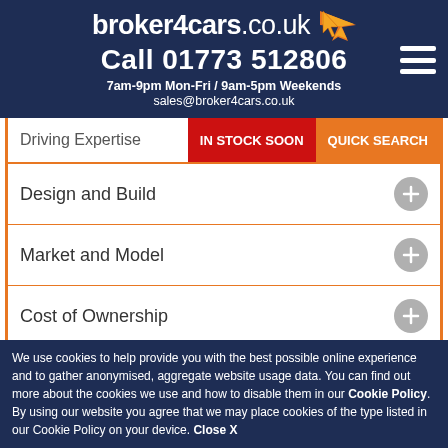broker4cars.co.uk
Call 01773 512806
7am-9pm Mon-Fri / 9am-5pm Weekends
sales@broker4cars.co.uk
Driving Expertise
IN STOCK SOON
QUICK SEARCH
Design and Build
Market and Model
Cost of Ownership
Summary
We use cookies to help provide you with the best possible online experience and to gather anonymised, aggregate website usage data. You can find out more about the cookies we use and how to disable them in our Cookie Policy. By using our website you agree that we may place cookies of the type listed in our Cookie Policy on your device. Close X